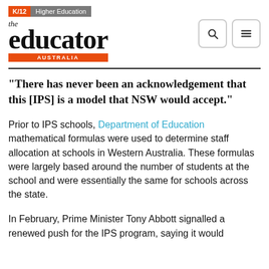K/12 | Higher Education — the educator AUSTRALIA
“There has never been an acknowledgement that this [IPS] is a model that NSW would accept.”
Prior to IPS schools, Department of Education mathematical formulas were used to determine staff allocation at schools in Western Australia. These formulas were largely based around the number of students at the school and were essentially the same for schools across the state.
In February, Prime Minister Tony Abbott signalled a renewed push for the IPS program, saying it would